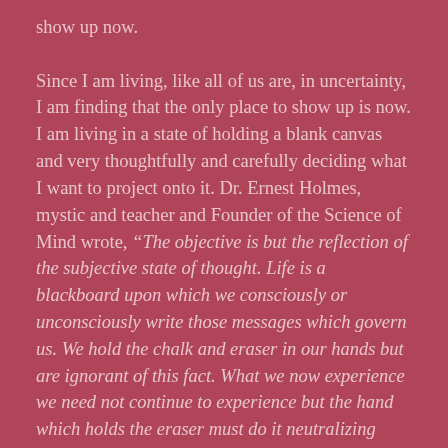show up now. Since I am living, like all of us are, in uncertainty, I am finding that the only place to show up is now. I am living in a state of holding a blank canvas and very thoughtfully and carefully deciding what I want to project onto it. Dr. Ernest Holmes, mystic and teacher and Founder of the Science of Mind wrote, “The objective is but the reflection of the subjective state of thought. Life is a blackboard upon which we consciously or unconsciously write those messages which govern us. We hold the chalk and eraser in our hands but are ignorant of this fact. What we now experience we need not continue to experience but the hand which holds the eraser must do it neutralizing work.”